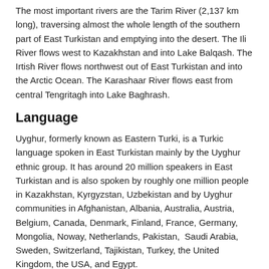The most important rivers are the Tarim River (2,137 km long), traversing almost the whole length of the southern part of East Turkistan and emptying into the desert. The Ili River flows west to Kazakhstan and into Lake Balqash. The Irtish River flows northwest out of East Turkistan and into the Arctic Ocean. The Karashaar River flows east from central Tengritagh into Lake Baghrash.
Language
Uyghur, formerly known as Eastern Turki, is a Turkic language spoken in East Turkistan mainly by the Uyghur ethnic group. It has around 20 million speakers in East Turkistan and is also spoken by roughly one million people in Kazakhstan, Kyrgyzstan, Uzbekistan and by Uyghur communities in Afghanistan, Albania, Australia, Austria, Belgium, Canada, Denmark, Finland, France, Germany, Mongolia, Noway, Netherlands, Pakistan, Saudi Arabia, Sweden, Switzerland, Tajikistan, Turkey, the United Kingdom, the USA, and Egypt.
Like many other Turkic languages, Uyghur displays vowel